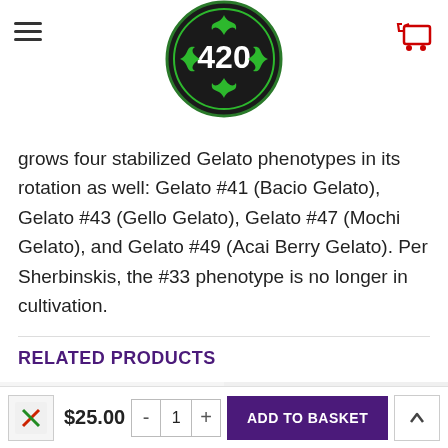420 store header with hamburger menu, logo, and cart
grows four stabilized Gelato phenotypes in its rotation as well: Gelato #41 (Bacio Gelato), Gelato #43 (Gello Gelato), Gelato #47 (Mochi Gelato), and Gelato #49 (Acai Berry Gelato). Per Sherbinskis, the #33 phenotype is no longer in cultivation.
RELATED PRODUCTS
[Figure (photo): Product image 1 with wishlist heart button]
[Figure (photo): Product image 2 with wishlist heart button - white box with logo]
$25.00 - 1 + ADD TO BASKET